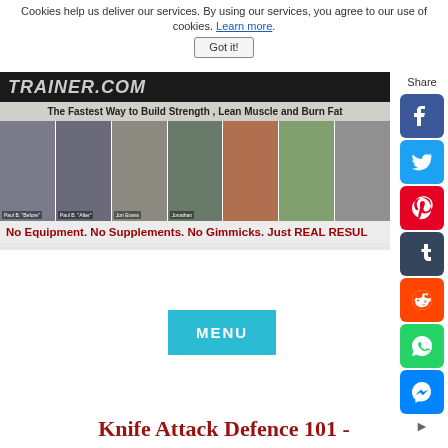Cookies help us deliver our services. By using our services, you agree to our use of cookies. Learn more.
Got it!
[Figure (screenshot): Website header banner for a fitness site with logo text, tagline 'The Fastest Way to Build Strength, Lean Muscle and Burn Fat', and a strip of before/after transformation photos]
No Equipment. No Supplements. No Gimmicks. Just REAL RESUL
[Figure (screenshot): Social media share buttons sidebar: Share label followed by Facebook, Twitter, Pinterest, Tumblr, Reddit, WhatsApp, Messenger buttons]
MENU
Knife Attack Defence 101 -